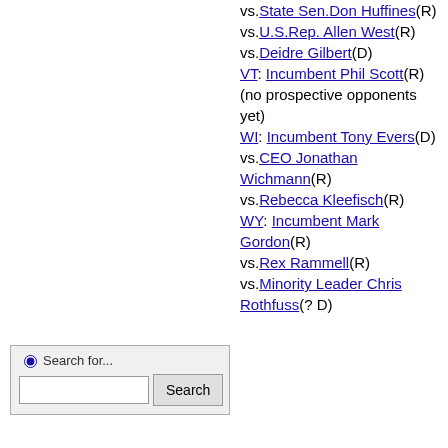vs.State Sen.Don Huffines(R) vs.U.S.Rep. Allen West(R) vs.Deidre Gilbert(D) VT: Incumbent Phil Scott(R) (no prospective opponents yet) WI: Incumbent Tony Evers(D) vs.CEO Jonathan Wichmann(R) vs.Rebecca Kleefisch(R) WY: Incumbent Mark Gordon(R) vs.Rex Rammell(R) vs.Minority Leader Chris Rothfuss(? D)